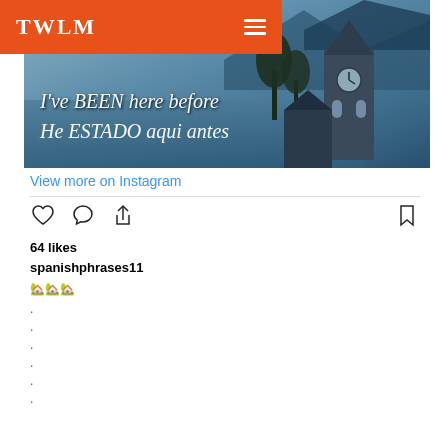TWLM
[Figure (photo): Hero image of a European lakeside town with a church tower and cloudy sky. Overlaid italic white text reads: I've BEEN here before / He ESTADO aqui antes]
View more on Instagram
64 likes
spanishphrases11
🏡🏡🏡
.
.
.
.
.
.